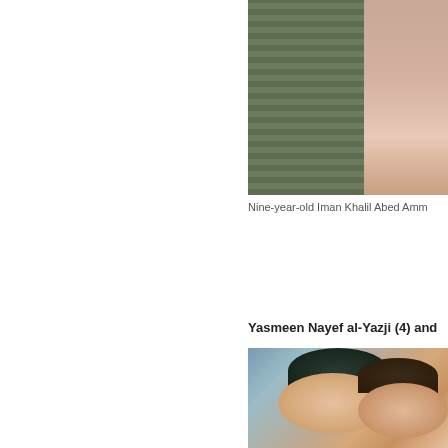[Figure (photo): Partial photograph of a child, cropped at right edge of page, with striped background fabric visible]
Nine-year-old Iman Khalil Abed Amm
Yasmeen Nayef al-Yazji (4) and
[Figure (photo): Photograph of two young smiling children, one hugging the other, cropped at right edge of page]